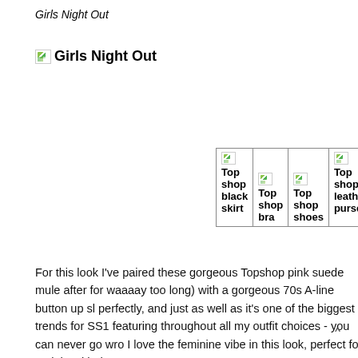Girls Night Out
Girls Night Out
[Figure (table-as-image): A product grid table with 6 columns showing broken image thumbnails and bold labels: 'Topshop black skirt', 'Topshop bra', 'Topshop shoes', 'Topshop leather purse', 'Topshop bracelet', 'Topshop wide brim hat']
For this look I've paired these gorgeous Topshop pink suede mule after for waaaay too long) with a gorgeous 70s A-line button up sl perfectly, and just as well as it's one of the biggest trends for SS1 featuring throughout all my outfit choices - you can never go wro I love the feminine vibe in this look, perfect for a night with the g